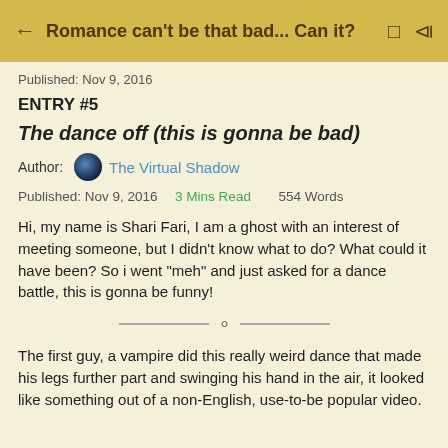Romance can't be that bad... Can it?
Published: Nov 9, 2016
ENTRY #5
The dance off (this is gonna be bad)
Author: The Virtual Shadow
Published: Nov 9, 2016   3 Mins Read   554 Words
Hi, my name is Shari Fari, I am a ghost with an interest of meeting someone, but I didn't know what to do? What could it have been? So i went "meh" and just asked for a dance battle, this is gonna be funny!
The first guy, a vampire did this really weird dance that made his legs further part and swinging his hand in the air, it looked like something out of a non-English, use-to-be popular video.